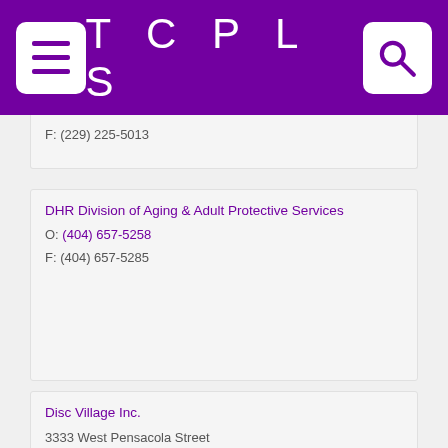TCPLS
F: (229) 225-5013
DHR Division of Aging & Adult Protective Services
O: (404) 657-5258
F: (404) 657-5285
Disc Village Inc.
3333 West Pensacola Street
Tallahassee, FL 32304
Open in Google Maps
O: (850) 575-4388